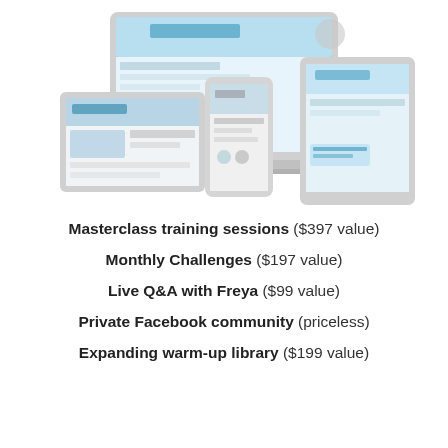[Figure (screenshot): Composite image showing multiple devices (laptop, tablet, smartphone) displaying an online singing school website and related pages including a Facebook community page and a vocal warm-up vault page.]
Masterclass training sessions ($397 value)
Monthly Challenges ($197 value)
Live Q&A with Freya ($99 value)
Private Facebook community (priceless)
Expanding warm-up library ($199 value)